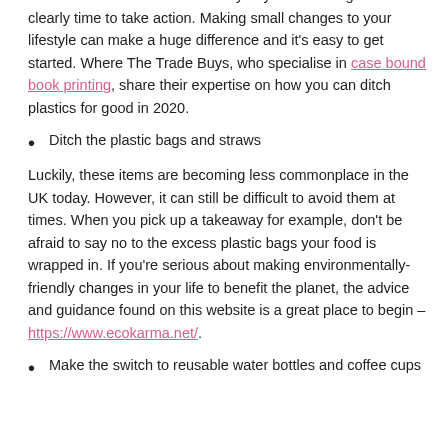our oceans. Over eight million bits of plastic and microplastics are released into the ocean every day across the globe. It is clearly time to take action. Making small changes to your lifestyle can make a huge difference and it's easy to get started. Where The Trade Buys, who specialise in case bound book printing, share their expertise on how you can ditch plastics for good in 2020.
Ditch the plastic bags and straws
Luckily, these items are becoming less commonplace in the UK today. However, it can still be difficult to avoid them at times. When you pick up a takeaway for example, don't be afraid to say no to the excess plastic bags your food is wrapped in. If you're serious about making environmentally-friendly changes in your life to benefit the planet, the advice and guidance found on this website is a great place to begin – https://www.ecokarma.net/.
Make the switch to reusable water bottles and coffee cups